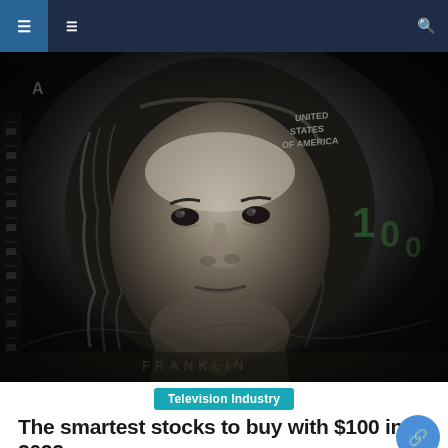Navigation bar with menu icon, secondary icon, and search icon
[Figure (photo): Close-up black and white photograph of Benjamin Franklin's portrait as seen on a US $100 bill, with text 'UNITED STATES OF AMERICA' and '100' visible in the upper right corner, and 'FRANKLIN' visible at the bottom center.]
Television Industry
The smartest stocks to buy with $100 in 2022
Last year, Wall Street apparently couldn't be stopped. The